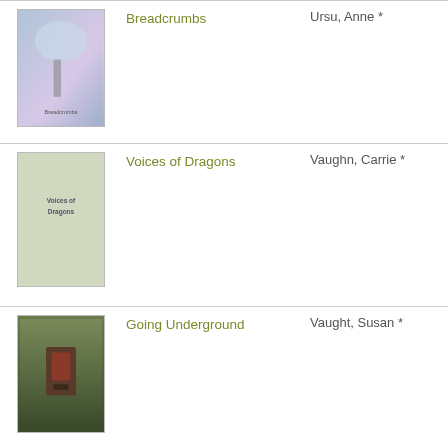Breadcrumbs — Ursu, Anne *
Voices of Dragons — Vaughn, Carrie *
Going Underground — Vaught, Susan *
The Young World (The Young World, #1) — Weitz, Chris
Variant (Variant, #1) — Wells, Robison *
The Fire Artist — Whitney,